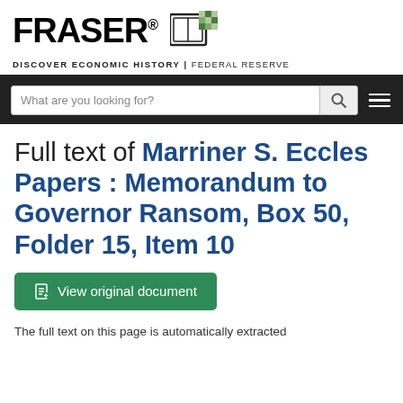[Figure (logo): FRASER logo with book/checkered icon and tagline 'DISCOVER ECONOMIC HISTORY | FEDERAL RESERVE']
[Figure (screenshot): Navigation bar with search box 'What are you looking for?' and menu icon]
Full text of Marriner S. Eccles Papers : Memorandum to Governor Ransom, Box 50, Folder 15, Item 10
View original document
The full text on this page is automatically extracted